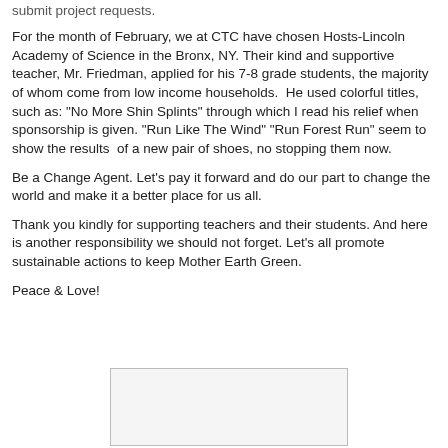submit project requests.
For the month of February, we at CTC have chosen Hosts-Lincoln Academy of Science in the Bronx, NY. Their kind and supportive teacher, Mr. Friedman, applied for his 7-8 grade students, the majority of whom come from low income households.  He used colorful titles, such as: "No More Shin Splints" through which I read his relief when sponsorship is given. "Run Like The Wind" "Run Forest Run" seem to show the results  of a new pair of shoes, no stopping them now.
Be a Change Agent. Let's pay it forward and do our part to change the world and make it a better place for us all.
Thank you kindly for supporting teachers and their students. And here is another responsibility we should not forget. Let's all promote sustainable actions to keep Mother Earth Green.
Peace & Love!
[Figure (photo): Partially visible image/photo at the bottom of the page]